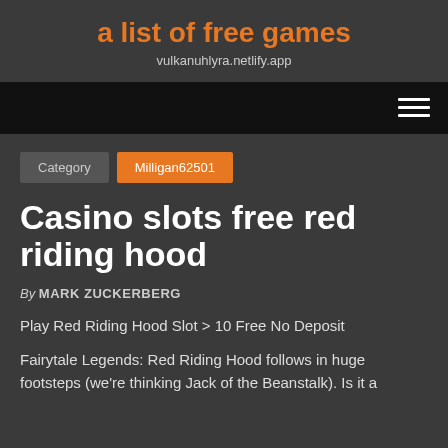a list of free games
vulkanuhlyra.netlify.app
Category  Milligan62501
Casino slots free red riding hood
By MARK ZUCKERBERG
Play Red Riding Hood Slot > 10 Free No Deposit
Fairytale Legends: Red Riding Hood follows in huge footsteps (we're thinking Jack of the Beanstalk). Is it a